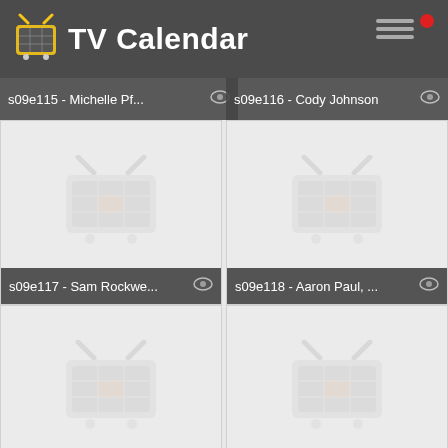TV Calendar
[Figure (screenshot): TV Calendar app grid showing episode thumbnails with TV logo watermark. Episodes: s09e115 - Michelle Pf..., s09e116 - Cody Johnson, s09e117 - Sam Rockwe..., s09e118 - Aaron Paul,..., s09e119 - Marlon Way..., s09e120 - Pusha T, and two partial cards at bottom.]